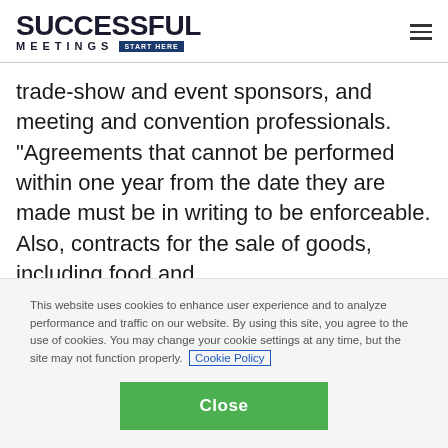SUCCESSFUL MEETINGS START HERE
trade-show and event sponsors, and meeting and convention professionals. "Agreements that cannot be performed within one year from the date they are made must be in writing to be enforceable. Also, contracts for the sale of goods, including food and
This website uses cookies to enhance user experience and to analyze performance and traffic on our website. By using this site, you agree to the use of cookies. You may change your cookie settings at any time, but the site may not function properly. Cookie Policy
Close